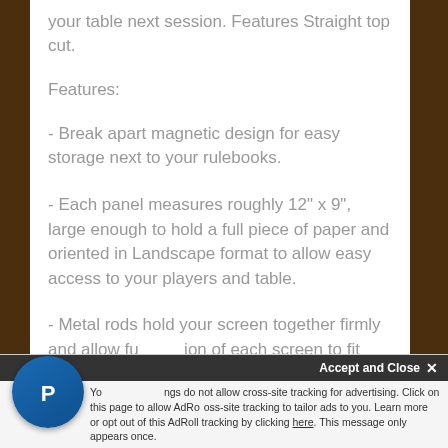your table next session. Features Straight top cut.
Features:
- Break apart magnetic design for easy storage next to your rulebooks.
- Each panel measures roughly 12" x 9", large enough to hold a full piece of paper and oriented in Landscape format to allow easy access to your players and table.
- Metal rods hold your screen together firmly and allow fu...ion of each screen to fit your table and CM...
Accept and Close ✕
Your settings do not allow cross-site tracking for advertising. Click on this page to allow AdRoll cross-site tracking to tailor ads to you. Learn more or opt out of this AdRoll tracking by clicking here. This message only appears once.